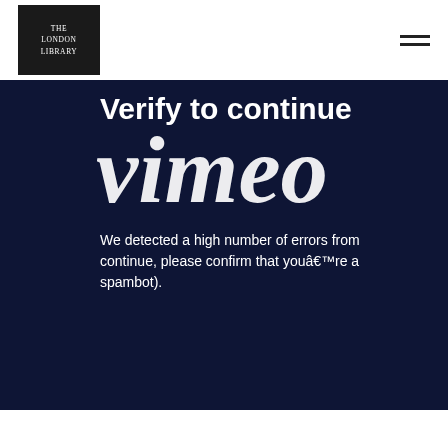[Figure (logo): The London Library logo — white text on black square background]
[Figure (screenshot): Hamburger menu icon (three horizontal lines)]
Verify to continue
[Figure (logo): Vimeo logo in white italic script overlaid on the dark background]
We detected a high number of errors from continue, please confirm that youâ€™re a spambot).
[Figure (screenshot): reCAPTCHA widget with checkbox labeled 'I'm not a robot', reCAPTCHA branding with Privacy and Terms links]